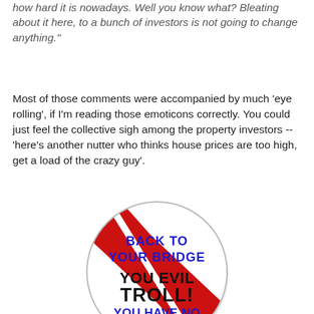how hard it is nowadays. Well you know what? Bleating about it here, to a bunch of investors is not going to change anything."
Most of those comments were accompanied by much 'eye rolling', if I'm reading those emoticons correctly. You could just feel the collective sigh among the property investors -- 'here's another nutter who thinks house prices are too high, get a load of the crazy guy'.
[Figure (illustration): A round button/badge with a red and white diagonal stripe design. Text reads: 'BACK TO YOUR BRIDGE YOU EVIL TROLL! YOU HAVE NO POWERS HERE!' in blue and black text.]